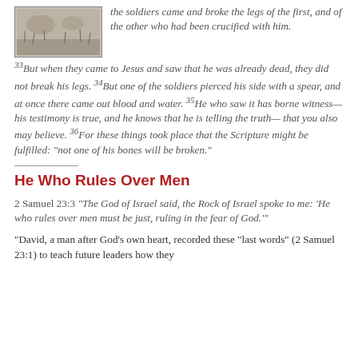[Figure (photo): Black and white illustration/photograph of soldiers or a battle scene, partially visible at the top.]
the soldiers came and broke the legs of the first, and of the other who had been crucified with him. 33But when they came to Jesus and saw that he was already dead, they did not break his legs. 34But one of the soldiers pierced his side with a spear, and at once there came out blood and water. 35He who saw it has borne witness— his testimony is true, and he knows that he is telling the truth— that you also may believe. 36For these things took place that the Scripture might be fulfilled: "not one of his bones will be broken."
He Who Rules Over Men
2 Samuel 23:3 “The God of Israel said, the Rock of Israel spoke to me: ‘He who rules over men must be just, ruling in the fear of God.’”
“David, a man after God’s own heart, recorded these “last words” (2 Samuel 23:1) to teach future leaders how they